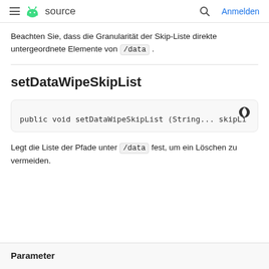≡ android source   🔍  Anmelden
Beachten Sie, dass die Granularität der Skip-Liste direkte untergeordnete Elemente von /data .
setDataWipeSkipList
public void setDataWipeSkipList (String... skipLi
Legt die Liste der Pfade unter /data fest, um ein Löschen zu vermeiden.
Parameter